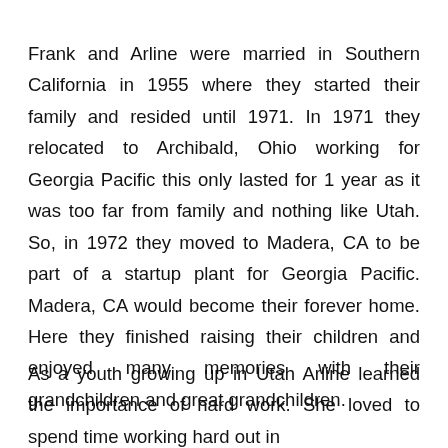Frank and Arline were married in Southern California in 1955 where they started their family and resided until 1971. In 1971 they relocated to Archibald, Ohio working for Georgia Pacific this only lasted for 1 year as it was too far from family and nothing like Utah. So, in 1972 they moved to Madera, CA to be part of a startup plant for Georgia Pacific. Madera, CA would become their forever home. Here they finished raising their children and enjoyed many memories with their grandchildren and great grandchildren.
As a youth growing up in Utah Arline learned the importance of hard work. She loved to spend time working hard out in